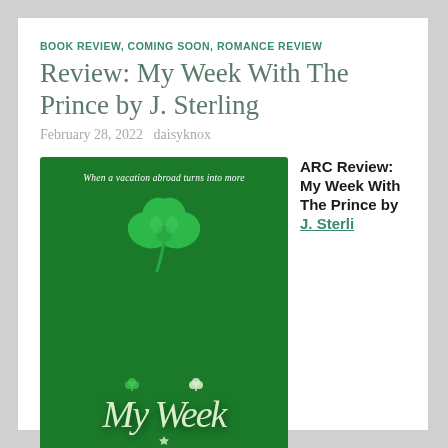BOOK REVIEW, COMING SOON, ROMANCE REVIEW
Review: My Week With The Prince by J. Sterling
February 28, 2022   daisyknox
[Figure (photo): Book cover of 'My Week With The Prince' by J. Sterling — green background with a four-leaf clover illustration and script title text. Tagline reads: When a vacation abroad turns into more.]
ARC Review: My Week With The Prince by J. Sterli…